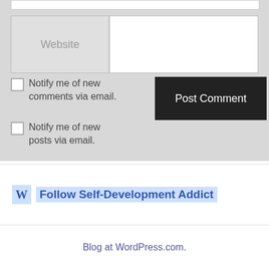Website
Notify me of new comments via email.
Notify me of new posts via email.
Post Comment
Follow Self-Development Addict
Blog at WordPress.com.